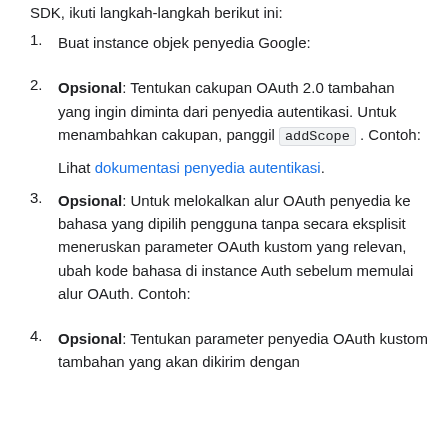SDK, ikuti langkah-langkah berikut ini:
Buat instance objek penyedia Google:
Opsional: Tentukan cakupan OAuth 2.0 tambahan yang ingin diminta dari penyedia autentikasi. Untuk menambahkan cakupan, panggil addScope . Contoh:
Lihat dokumentasi penyedia autentikasi.
Opsional: Untuk melokalkan alur OAuth penyedia ke bahasa yang dipilih pengguna tanpa secara eksplisit meneruskan parameter OAuth kustom yang relevan, ubah kode bahasa di instance Auth sebelum memulai alur OAuth. Contoh:
Opsional: Tentukan parameter penyedia OAuth kustom tambahan yang akan dikirim dengan